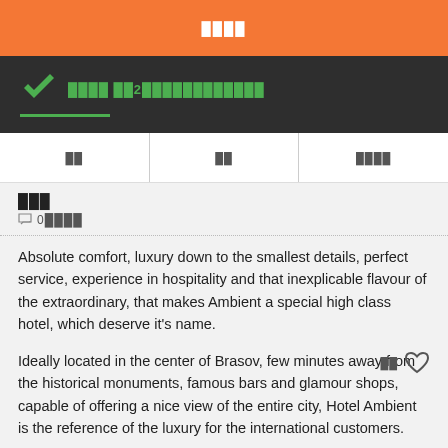████
████ ██2████████████
██  ██  ████
███
0████
██
Absolute comfort, luxury down to the smallest details, perfect service, experience in hospitality and that inexplicable flavour of the extraordinary, that makes Ambient a special high class hotel, which deserve it's name.
Ideally located in the center of Brasov, few minutes away from the historical monuments, famous bars and glamour shops, capable of offering a nice view of the entire city, Hotel Ambient is the reference of the luxury for the international customers.
████